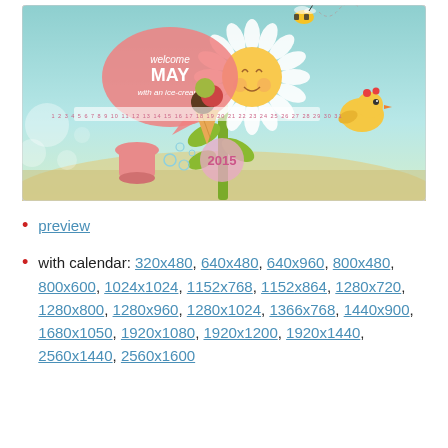[Figure (illustration): A colorful illustrated May 2015 calendar desktop wallpaper. Features a cartoon sun as a sunflower, a bee flying at top, an ice cream cone, a small yellow bird/chick, a pink vase, speech bubble saying 'welcome MAY with an ice-cream!', year 2015, and small calendar strip with dates.]
preview
with calendar: 320x480, 640x480, 640x960, 800x480, 800x600, 1024x1024, 1152x768, 1152x864, 1280x720, 1280x800, 1280x960, 1280x1024, 1366x768, 1440x900, 1680x1050, 1920x1080, 1920x1200, 1920x1440, 2560x1440, 2560x1600